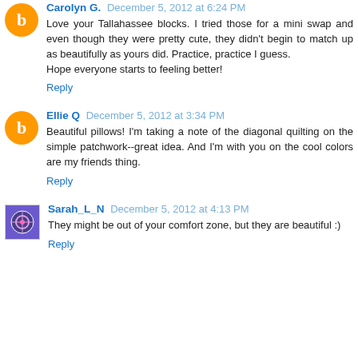Carolyn G. December 5, 2012 at 6:24 PM
Love your Tallahassee blocks. I tried those for a mini swap and even though they were pretty cute, they didn't begin to match up as beautifully as yours did. Practice, practice I guess.
Hope everyone starts to feeling better!
Reply
Ellie Q December 5, 2012 at 3:34 PM
Beautiful pillows! I'm taking a note of the diagonal quilting on the simple patchwork--great idea. And I'm with you on the cool colors are my friends thing.
Reply
Sarah_L_N December 5, 2012 at 4:13 PM
They might be out of your comfort zone, but they are beautiful :)
Reply